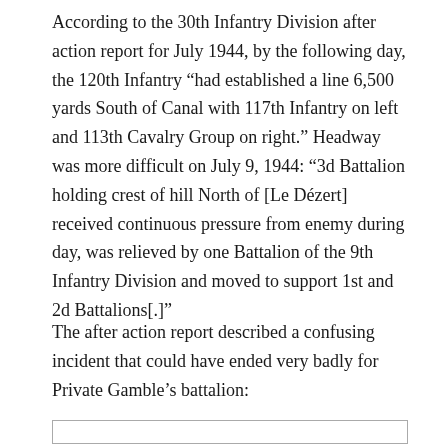According to the 30th Infantry Division after action report for July 1944, by the following day, the 120th Infantry “had established a line 6,500 yards South of Canal with 117th Infantry on left and 113th Cavalry Group on right.” Headway was more difficult on July 9, 1944: “3d Battalion holding crest of hill North of [Le Dézert] received continuous pressure from enemy during day, was relieved by one Battalion of the 9th Infantry Division and moved to support 1st and 2d Battalions[.]”
The after action report described a confusing incident that could have ended very badly for Private Gamble’s battalion: